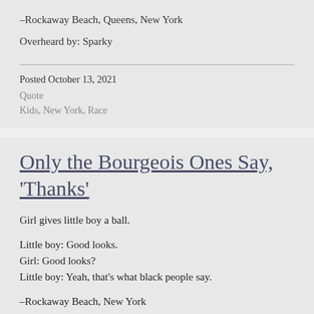–Rockaway Beach, Queens, New York
Overheard by: Sparky
Posted October 13, 2021
Quote
Kids, New York, Race
Only the Bourgeois Ones Say, 'Thanks'
Girl gives little boy a ball.
Little boy: Good looks.
Girl: Good looks?
Little boy: Yeah, that's what black people say.
–Rockaway Beach, New York
Overheard by: sparky